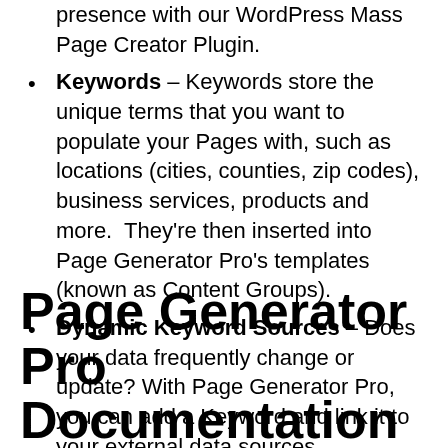presence with our WordPress Mass Page Creator Plugin.
Keywords – Keywords store the unique terms that you want to populate your Pages with, such as locations (cities, counties, zip codes), business services, products and more.  They're then inserted into Page Generator Pro's templates (known as Content Groups).
Dynamic Keyword Sources – Does your data frequently change or update? With Page Generator Pro, you can add a Keyword and link it to your external data sources, including:
Page Generator Pro Documentation